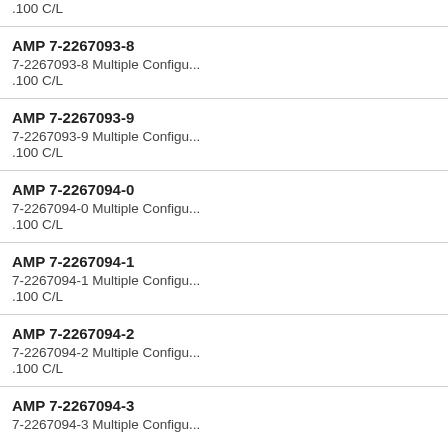.100 C/L
AMP 7-2267093-8
7-2267093-8 Multiple Configu...
.100 C/L
AMP 7-2267093-9
7-2267093-9 Multiple Configu...
.100 C/L
AMP 7-2267094-0
7-2267094-0 Multiple Configu...
.100 C/L
AMP 7-2267094-1
7-2267094-1 Multiple Configu...
.100 C/L
AMP 7-2267094-2
7-2267094-2 Multiple Configu...
.100 C/L
AMP 7-2267094-3
7-2267094-3 Multiple Configu...